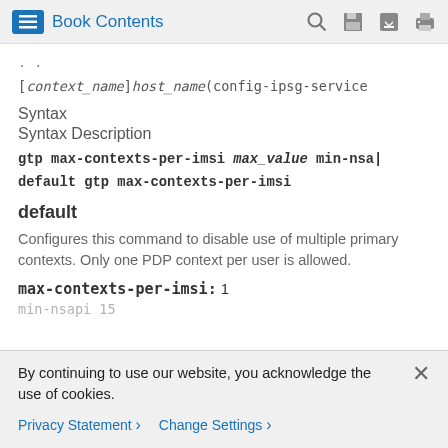Book Contents
[context_name]host_name(config-ipsg-service
Syntax
Syntax Description
gtp max-contexts-per-imsi max_value min-nsa
default gtp max-contexts-per-imsi
default
Configures this command to disable use of multiple primary contexts. Only one PDP context per user is allowed.
max-contexts-per-imsi: 1
min-nsapi 15
By continuing to use our website, you acknowledge the use of cookies.
Privacy Statement > Change Settings >